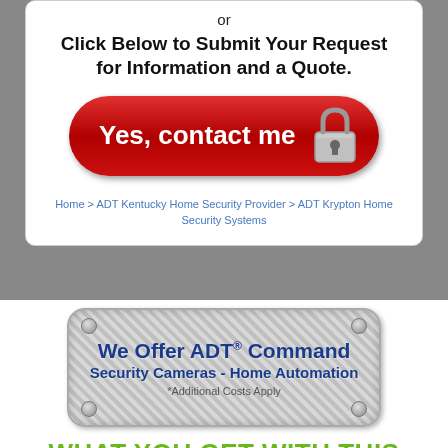or
Click Below to Submit Your Request for Information and a Quote.
[Figure (illustration): Red rounded button with white text 'Yes, contact me' and a padlock icon on the right]
Home > ADT Kentucky Home Security Provider > ADT Krypton Home Security Systems
[Figure (illustration): Metal diamond-plate badge with text: We Offer ADT® Command, Security Cameras - Home Automation, *Additional Costs Apply]
WHAT YOU GET WITH THIS VERY SPECIAL OFFER